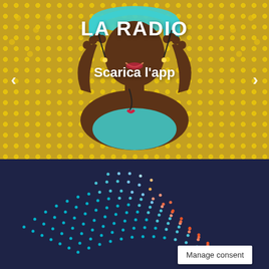[Figure (illustration): Pop-art style illustration of a dark-skinned woman wearing teal headphones, hands raised near face, against a yellow polka-dot background. Navigation arrows on left and right sides.]
LA RADIO
Scarica l'app
[Figure (illustration): Dark navy blue background with a glowing dotted fingerprint-like wave pattern in cyan and orange dots forming a curved hill shape.]
Manage consent